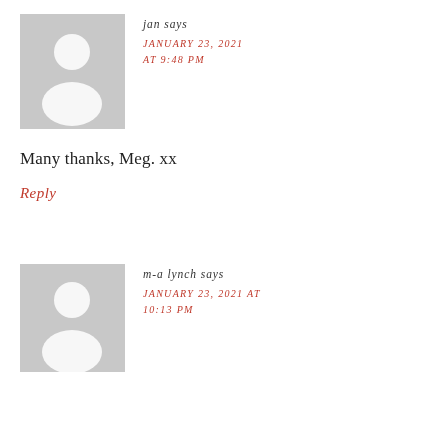[Figure (photo): Grey placeholder avatar image for user 'jan']
jan says
JANUARY 23, 2021 AT 9:48 PM
Many thanks, Meg. xx
Reply
[Figure (photo): Grey placeholder avatar image for user 'm-a lynch']
m-a lynch says
JANUARY 23, 2021 AT 10:13 PM